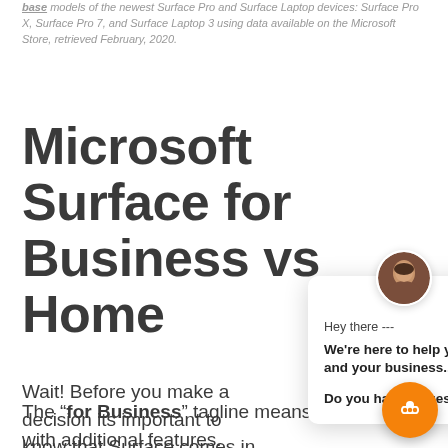base models of the newest Surface Pro and Surface Laptop devices: Surface Pro X, Surface Pro 7, and Surface Laptop 3 using data available on the Microsoft Store, retrieved February, 2020.
Microsoft Surface for Business vs Home
Wait! Before you make a decision its important to know that Surface comes in two flavors Surface for Business
[Figure (other): Chat popup widget with avatar photo of a woman, showing message: Hey there --- We're here to help you and your business.... Do you have a question? With a close (X) button and an orange chat button in the bottom right.]
The "for Business" tagline means Surface devices with additional features.